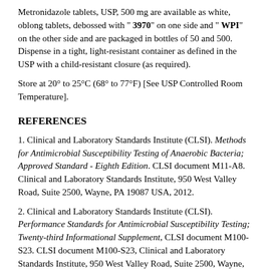Metronidazole tablets, USP, 500 mg are available as white, oblong tablets, debossed with "3970" on one side and "WPI" on the other side and are packaged in bottles of 50 and 500. Dispense in a tight, light-resistant container as defined in the USP with a child-resistant closure (as required).
Store at 20° to 25°C (68° to 77°F) [See USP Controlled Room Temperature].
REFERENCES
1. Clinical and Laboratory Standards Institute (CLSI). Methods for Antimicrobial Susceptibility Testing of Anaerobic Bacteria; Approved Standard - Eighth Edition. CLSI document M11-A8. Clinical and Laboratory Standards Institute, 950 West Valley Road, Suite 2500, Wayne, PA 19087 USA, 2012.
2. Clinical and Laboratory Standards Institute (CLSI). Performance Standards for Antimicrobial Susceptibility Testing; Twenty-third Informational Supplement, CLSI document M100-S23. CLSI document M100-S23, Clinical and Laboratory Standards Institute, 950 West Valley Road, Suite 2500, Wayne, Pennsylvania 19087, USA, 2013.
Manufactured by:
Watson Pharma Private Limited
Verna, Salcette Goa 403 722 INDIA